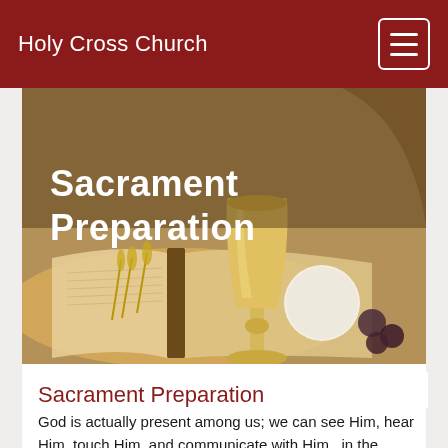Holy Cross Church
[Figure (photo): Sepia-toned photo of an open Bible with wheat stalks, a silver chalice/goblet, and a white communion host, with the text 'Sacrament Preparation' overlaid in bold white on the left side.]
Sacrament Preparation
God is actually present among us; we can see Him, hear Him, touch Him, and communicate with Him...in the Sacraments. A major responsibility of Holy Cross